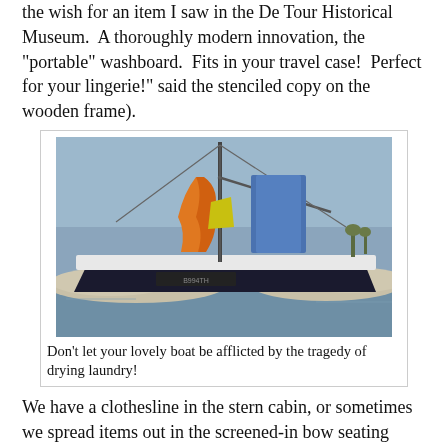the wish for an item I saw in the De Tour Historical Museum.  A thoroughly modern innovation, the "portable" washboard.  Fits in your travel case!  Perfect for your lingerie!" said the stenciled copy on the wooden frame).
[Figure (photo): A boat at dock with orange and blue laundry/fabric hanging on the rigging, with rocky shoreline in background]
Don't let your lovely boat be afflicted by the tragedy of drying laundry!
We have a clothesline in the stern cabin, or sometimes we spread items out in the screened-in bow seating area. But why not hang the laundry outdoors, you ask?  Under that nice canopy on the stern deck?
Ahem.  Well, as I've mentioned, everything we know about boating customs and culture we learned from books, and as you know...There is a Boating Etiquette thing about that.